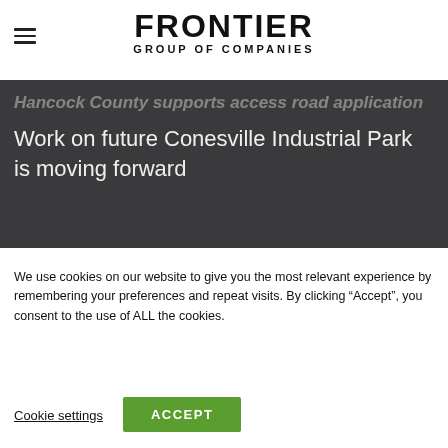FRONTIER GROUP OF COMPANIES
Hancock County supports access road application
Work on future Conesville Industrial Park is moving forward
SITE DIRECTORY
We use cookies on our website to give you the most relevant experience by remembering your preferences and repeat visits. By clicking “Accept”, you consent to the use of ALL the cookies.
Cookie settings
ACCEPT